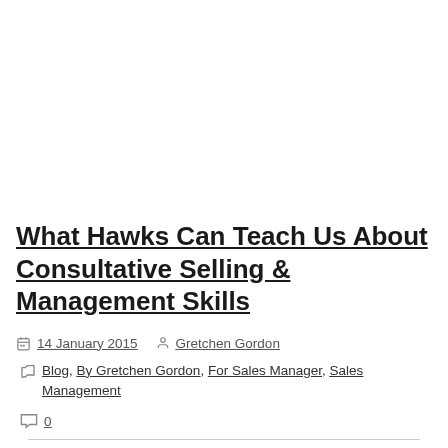What Hawks Can Teach Us About Consultative Selling & Management Skills
14 January 2015   Gretchen Gordon
Blog, By Gretchen Gordon, For Sales Manager, Sales Management
0
I was driving to the airport the other day on a busy stretch of the